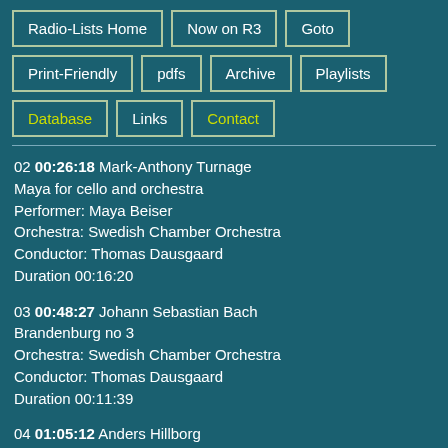Radio-Lists Home
Now on R3
Goto
Print-Friendly
pdfs
Archive
Playlists
Database
Links
Contact
02 00:26:18 Mark-Anthony Turnage
Maya for cello and orchestra
Performer: Maya Beiser
Orchestra: Swedish Chamber Orchestra
Conductor: Thomas Dausgaard
Duration 00:16:20
03 00:48:27 Johann Sebastian Bach
Brandenburg no 3
Orchestra: Swedish Chamber Orchestra
Conductor: Thomas Dausgaard
Duration 00:11:39
04 01:05:12 Anders Hillborg
Bach Materia
Performer: Pekka Kuusisto